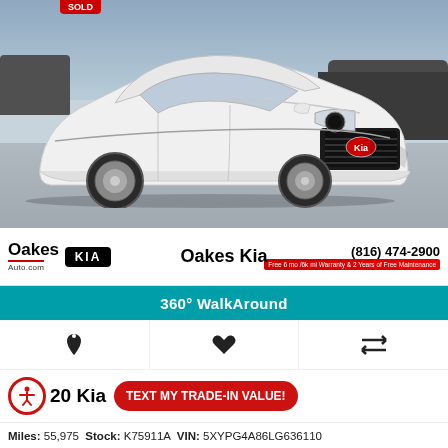[Figure (photo): White Kia Sorento SUV photographed from front-left angle in a dealership lot, with other vehicles visible in background]
Oakes Auto.com  [Kia logo]   Oakes Kia   (816) 474-2900   Free 6 mo /6k mi Warranty & 2 Years of Free Maintenance
360° WalkAround
[Bell icon]   [Heart icon]   [Compare icon]
2020 Kia S   TEXT MY TRADE-IN VALUE!
Miles: 55,975   Stock: K75911A   VIN: 5XYPG4A86LG636110
[Alerts]   [Handshake]   Chat Live   Text Us   0